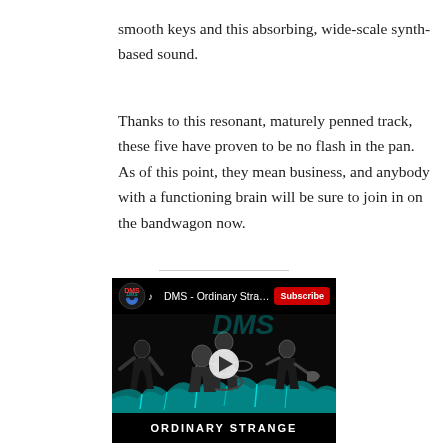smooth keys and this absorbing, wide-scale synth-based sound.
Thanks to this resonant, maturely penned track, these five have proven to be no flash in the pan. As of this point, they mean business, and anybody with a functioning brain will be sure to join in on the bandwagon now.
[Figure (screenshot): Embedded YouTube video thumbnail for 'DMS - Ordinary Strange (M...)' showing band members performing against black background, with Subscribe button, play button, and 'ORDINARY STRANGE' text at bottom.]